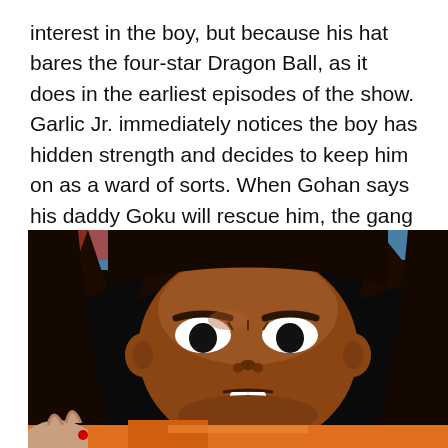interest in the boy, but because his hat bares the four-star Dragon Ball, as it does in the earliest episodes of the show. Garlic Jr. immediately notices the boy has hidden strength and decides to keep him on as a ward of sorts. When Gohan says his daddy Goku will rescue him, the gang is familiar with the name as Goku famously toppled Piccolo in the most recently completed World Martial Arts tournament.
[Figure (illustration): Anime illustration of a dark-haired male character (Raditz from Dragon Ball Z) with a serious expression, dark skin tone, wearing an orange outfit, shown in close-up with one hand raised near his face. Background shows black and blue tones.]